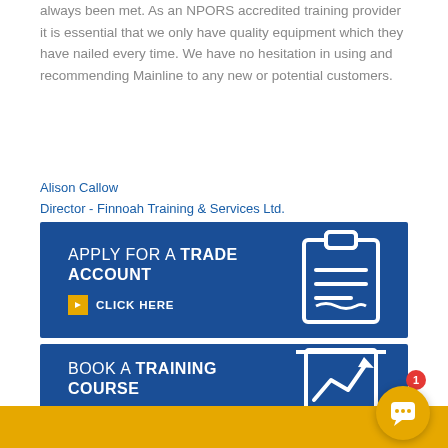always been met. As an NPORS accredited training provider it is essential that we only have quality equipment which they have nailed every time. We have no hesitation in using and recommending Mainline to any new or potential customers.
Alison Callow
Director - Finnoah Training & Services Ltd.
[Figure (infographic): Blue banner with text 'APPLY FOR A TRADE ACCOUNT' and 'CLICK HERE' button with clipboard icon]
[Figure (infographic): Blue banner with text 'BOOK A TRAINING COURSE' and 'CLICK HERE' button with presentation chart icon]